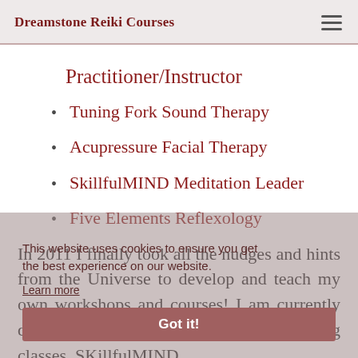Dreamstone Reiki Courses
Practitioner/Instructor
Tuning Fork Sound Therapy
Acupressure Facial Therapy
SkillfulMIND Meditation Leader
Five Elements Reflexology
In 2011 I finally took all the nudges and hints from the Universe to develop and teach my own workshops and courses! I am currently delivering Reiki Level 1, 2 and 3 MP evening classes, SKillfulMIND
This website uses cookies to ensure you get the best experience on our website. Learn more  Got it!